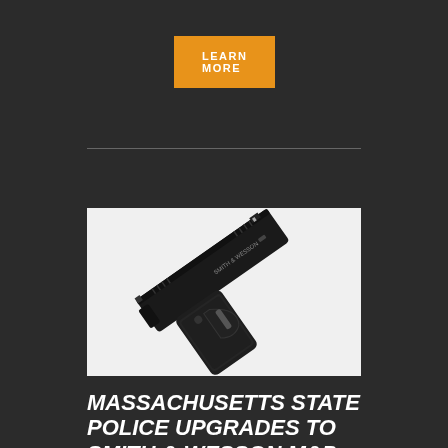LEARN MORE
[Figure (photo): Smith & Wesson M&P semi-automatic pistol photographed at an angle on a white background, showing the grip, trigger, and barrel detail with SMITH & WESSON branding visible on the slide.]
MASSACHUSETTS STATE POLICE UPGRADES TO SMITH & WESSON M&P